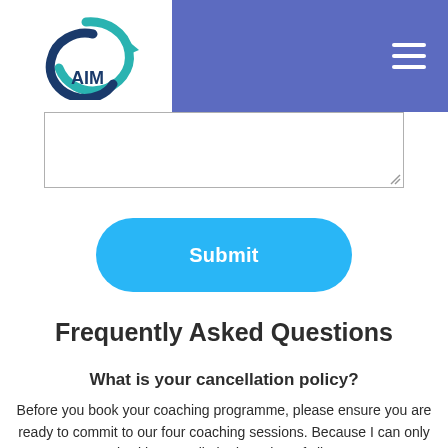AIM — navigation bar with logo and hamburger menu
[Figure (screenshot): Textarea input field (empty) with resize handle at bottom-right]
[Figure (other): Blue rounded Submit button]
Frequently Asked Questions
What is your cancellation policy?
Before you book your coaching programme, please ensure you are ready to commit to our four coaching sessions. Because I can only work with a very limited number of clients,